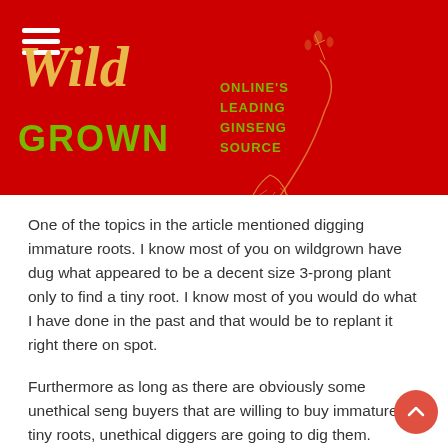Wild Grown — Online's Leading Ginseng Source
One of the topics in the article mentioned digging immature roots. I know most of you on wildgrown have dug what appeared to be a decent size 3-prong plant only to find a tiny root. I know most of you would do what I have done in the past and that would be to replant it right there on spot.
Furthermore as long as there are obviously some unethical seng buyers that are willing to buy immature tiny roots, unethical diggers are going to dig them.
Question to all ethical seng buyers. What are your